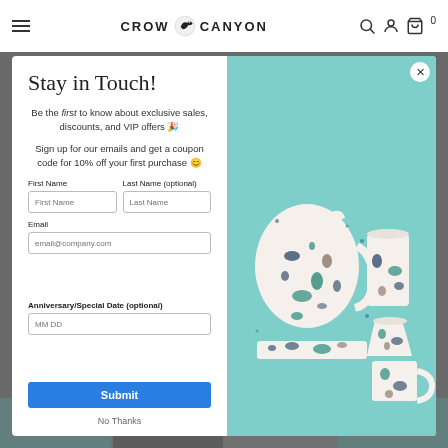Crow Canyon — website navigation bar with hamburger menu, logo, search, account, and cart icons
[Figure (screenshot): Modal popup overlay on Crow Canyon Home website. Left panel contains email signup form with title 'Stay in Touch!', subtext about exclusive sales and VIP offers, coupon code offer for 10% off first purchase, form fields for First Name, Last Name (optional), Email, Anniversary/Special Date (optional), a blue Submit button, and a 'No Thanks' link. Right panel shows a teal/aqua-background product photo of speckled enamelware including a pitcher and cups with teal/navy/brown splatter pattern.]